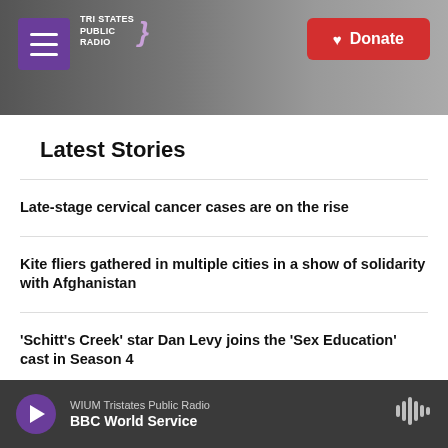[Figure (screenshot): Tri States Public Radio website header with hamburger menu, logo, and Donate button over a grayscale background photo of a radio tower]
Latest Stories
Late-stage cervical cancer cases are on the rise
Kite fliers gathered in multiple cities in a show of solidarity with Afghanistan
'Schitt's Creek' star Dan Levy joins the 'Sex Education' cast in Season 4
WIUM Tristates Public Radio — BBC World Service